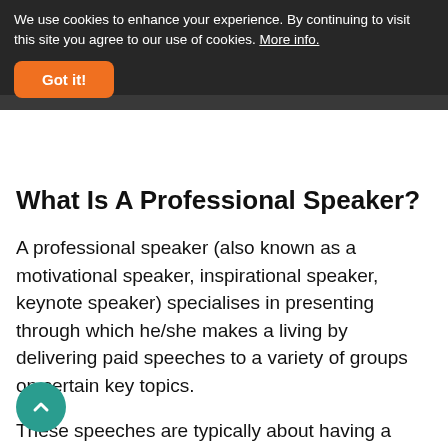We use cookies to enhance your experience. By continuing to visit this site you agree to our use of cookies. More info.
Got it!
What Is A Professional Speaker?
A professional speaker (also known as a motivational speaker, inspirational speaker, keynote speaker) specialises in presenting through which he/she makes a living by delivering paid speeches to a variety of groups on certain key topics.
These speeches are typically about having a better future, making more money, subject matter (example sales, service excellence, leadership, branding, creativity & innovation, storytelling, manufacturing, technology) and many more.